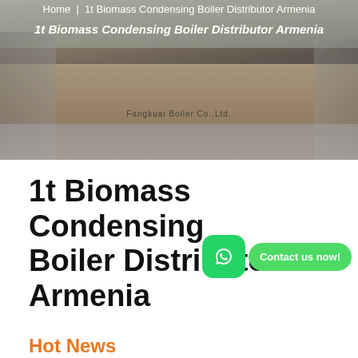[Figure (photo): Header banner photo showing a boiler company facility with a building facade, sign reading 'Fangkuai Boiler Co.,Ltd.' in Chinese and English, gate structures, and a road. Navigation bar overlaid with 'Home' and '1t Biomass Condensing Boiler Distributor Armenia'.]
Home | 1t Biomass Condensing Boiler Distributor Armenia
1t Biomass Condensing Boiler Distributor Armenia
Hot News
Industrial 4 Ton Hot Water Boiler Price Moldavia
6t oil fired Boiler Machine Top manufacturer Tajikistan
Low Price Energy Saving Condensing Boiler 6t